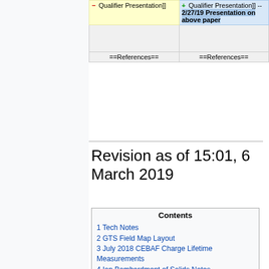[Figure (other): Wikipedia diff view showing two columns: left column with minus sign and 'Qualifier Presentation]]' text in yellow background, right column with plus sign and 'Qualifier Presentation]] -- 2/27/19 Presentation on above paper' text in blue background. Below are empty cells and ==References== rows.]
Revision as of 15:01, 6 March 2019
| Contents |
| 1 Tech Notes |
| 2 GTS Field Map Layout |
| 3 July 2018 CEBAF Charge Lifetime Measurements |
| 4 Ion Bombardment of Solids Notes |
| 5 Gun Voltage vs. Distance |
| 6 RGA Spectra, Ionization Cross |